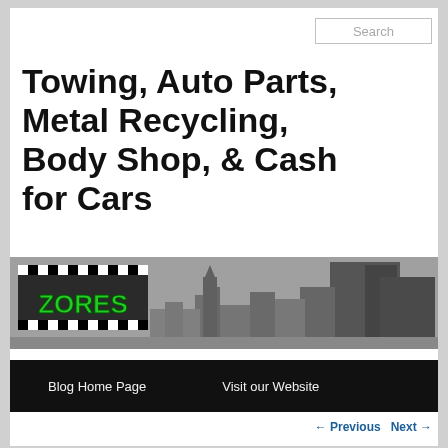Search
Towing, Auto Parts, Metal Recycling, Body Shop, & Cash for Cars
[Figure (logo): Zores logo with checkered flag pattern and green text on grey city skyline background]
Blog Home Page   Visit our Website
← Previous   Next →